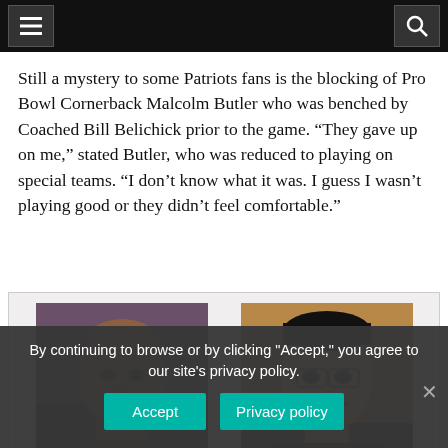[navigation bar with hamburger menu and search icon]
Still a mystery to some Patriots fans is the blocking of Pro Bowl Cornerback Malcolm Butler who was benched by Coached Bill Belichick prior to the game. “They gave up on me,” stated Butler, who was reduced to playing on special teams. “I don’t know what it was. I guess I wasn’t playing good or they didn’t feel comfortable.”
[Figure (photo): Two headshot photos side by side: a bald Black man smiling on the left, and an Asian man with glasses smiling on the right]
By continuing to browse or by clicking "Accept," you agree to our site's privacy policy.
Accept    Privacy policy